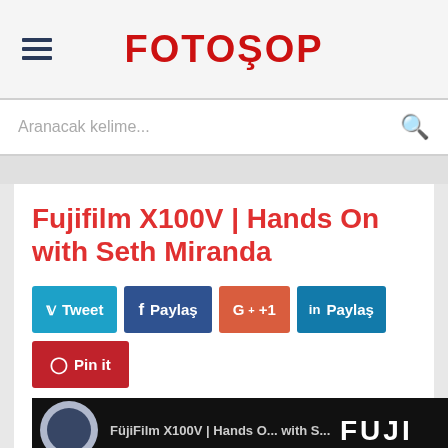FOTOSOP
Aranacak kelime...
Fujifilm X100V | Hands On with Seth Miranda
Tweet
Paylas
G++1
Paylas
Pin it
[Figure (screenshot): Video thumbnail showing Fujifilm X100V Hands On with Seth Miranda]